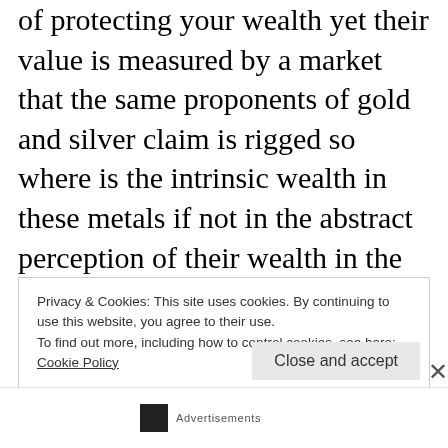of protecting your wealth yet their value is measured by a market that the same proponents of gold and silver claim is rigged so where is the intrinsic wealth in these metals if not in the abstract perception of their wealth in the market?

It's as if proponents of gold and silver seem to think that amidst an economic crisis in which the ruling powers lose
Privacy & Cookies: This site uses cookies. By continuing to use this website, you agree to their use.
To find out more, including how to control cookies, see here:
Cookie Policy
Close and accept
Advertisements